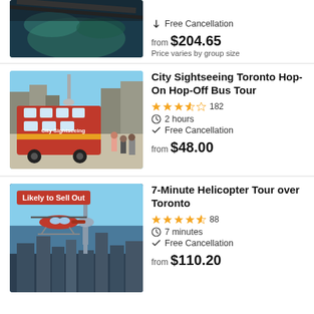[Figure (photo): Partial view of a tour (aerial/water view) - top of card cut off]
Free Cancellation
from $204.65
Price varies by group size
[Figure (photo): City Sightseeing Toronto red double-decker hop-on hop-off bus on a city street with CN Tower visible]
City Sightseeing Toronto Hop-On Hop-Off Bus Tour
3.5 stars, 182 reviews, 2 hours, Free Cancellation, from $48.00
[Figure (photo): 7-Minute Helicopter Tour over Toronto - aerial view of Toronto with CN Tower and a red helicopter, badge: Likely to Sell Out]
7-Minute Helicopter Tour over Toronto
4.5 stars, 88 reviews, 7 minutes, Free Cancellation, from $110.20